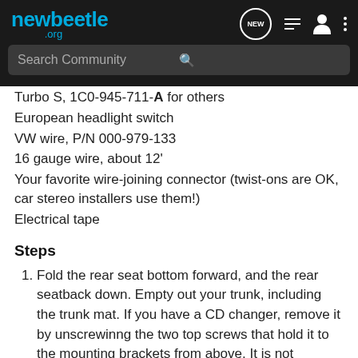[Figure (screenshot): newbeetle.org website navigation bar with logo, search bar, and icons]
Turbo S, 1C0-945-711-A for others
European headlight switch
VW wire, P/N 000-979-133
16 gauge wire, about 12'
Your favorite wire-joining connector (twist-ons are OK, car stereo installers use them!)
Electrical tape
Steps
Fold the rear seat bottom forward, and the rear seatback down. Empty out your trunk, including the trunk mat. If you have a CD changer, remove it by unscrewinng the two top screws that hold it to the mounting brackets from above. It is not necessary to remove the brackets or